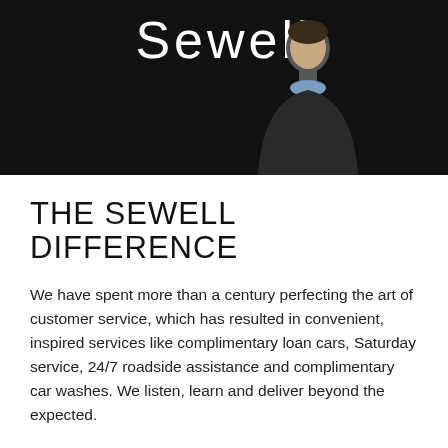[Figure (photo): Dark header banner with Sewell logo text in white and a smiling man in a dark jacket on a black background]
THE SEWELL DIFFERENCE
We have spent more than a century perfecting the art of customer service, which has resulted in convenient, inspired services like complimentary loan cars, Saturday service, 24/7 roadside assistance and complimentary car washes. We listen, learn and deliver beyond the expected.
SIMILAR VEHICLES